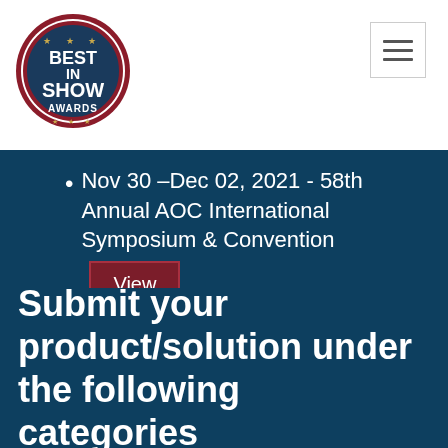[Figure (logo): Best In Show Awards circular logo with dark blue background, red border, and gold stars]
Nov 30 –Dec 02, 2021 - 58th Annual AOC International Symposium & Convention [View]
Oct 11 –13, 2021 - AUSA 2021 [View]
Submit your product/solution under the following categories